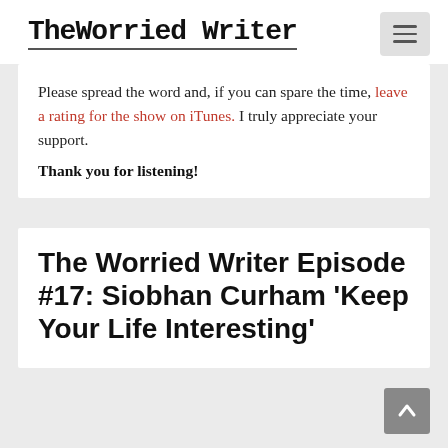TheWorriedWriter
Please spread the word and, if you can spare the time, leave a rating for the show on iTunes. I truly appreciate your support.
Thank you for listening!
The Worried Writer Episode #17: Siobhan Curham 'Keep Your Life Interesting'